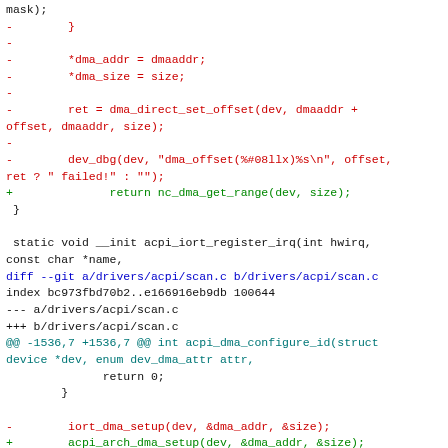Diff/patch code showing changes to Linux kernel DMA and ACPI driver files, including removed lines (red, prefixed with -) and added lines (green, prefixed with +), plus context lines in black and diff headers in blue/cyan/orange.